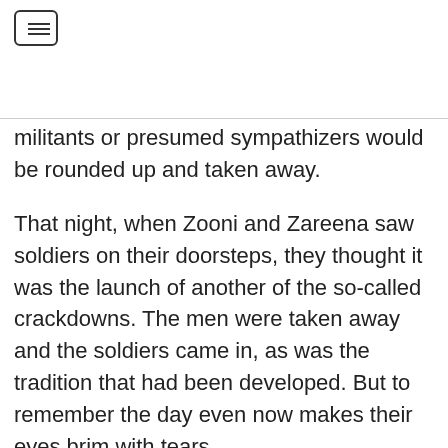☰ (menu icon)
militants or presumed sympathizers would be rounded up and taken away.
That night, when Zooni and Zareena saw soldiers on their doorsteps, they thought it was the launch of another of the so-called crackdowns. The men were taken away and the soldiers came in, as was the tradition that had been developed. But to remember the day even now makes their eyes brim with tears.
When the soldiers arrived, we were getting ready for bed. They took the men away. Others began drinking beer. When they tried to catch me, I was holding my two year old daughter in my arms.